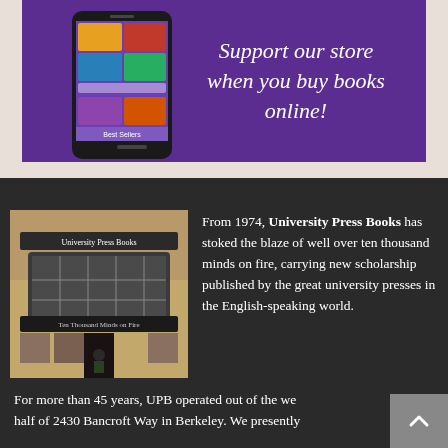[Figure (illustration): Purple promotional banner with a phone showing a bookstore app and text reading 'Support our store when you buy books online!']
[Figure (photo): Photo of University Press Books storefront with sign reading 'Ten Thousand Minds on Fire']
From 1974, University Press Books has stoked the blaze of well over ten thousand minds on fire, carrying new scholarship published by the great university presses in the English-speaking world.
For more than 45 years, UPB operated out of the we[ll] half of 2430 Bancroft Way in Berkeley. We presently